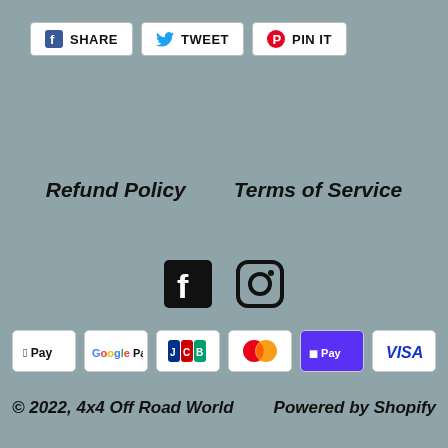[Figure (screenshot): Social share buttons row: Facebook SHARE, Twitter TWEET, Pinterest PIN IT]
Refund Policy    Terms of Service
[Figure (screenshot): Social media icons: Facebook and Instagram]
[Figure (screenshot): Payment method badges: Apple Pay, Google Pay, JCB, Mastercard, Shop Pay, Visa]
© 2022, 4x4 Off Road World    Powered by Shopify